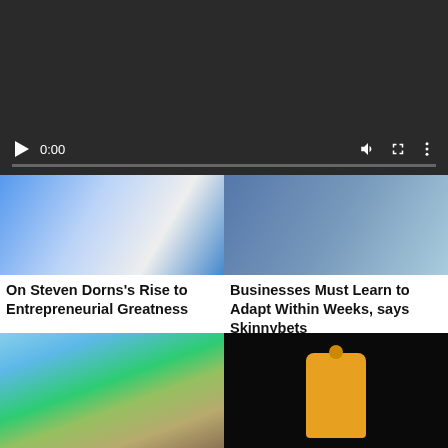[Figure (screenshot): Video player UI with dark background, play button, time display 0:00, progress bar, volume, fullscreen, and more icons]
[Figure (photo): Photo of people in blue clothing]
On Steven Dorns's Rise to Entrepreneurial Greatness
[Figure (photo): Person in polka dot top]
Businesses Must Learn to Adapt Within Weeks, says Skinnybets
[Figure (photo): Man in sunglasses at a tropical beach with palm trees, wearing Airborne t-shirt]
[Figure (photo): Man in yellow hoodie and cap against black background]